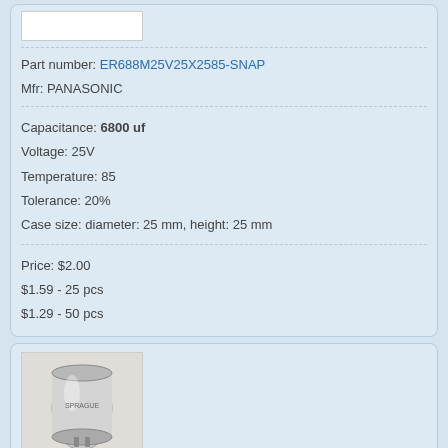[Figure (photo): Small white/grey thumbnail image of a capacitor component]
Part number: ER688M25V25X2585-SNAP
Mfr: PANASONIC
Capacitance: 6800 uf
Voltage: 25V
Temperature: 85
Tolerance: 20%
Case size: diameter: 25 mm, height: 25 mm
Price: $2.00
$1.59 - 25 pcs
$1.29 - 50 pcs
[Figure (photo): Photo of a cylindrical silver/aluminium capacitor component lying on its side]
Part number: CE71C682F
Mfr: SPRAGUE
Capacitance: 6800 uf
Voltage: 25V
Temperature: